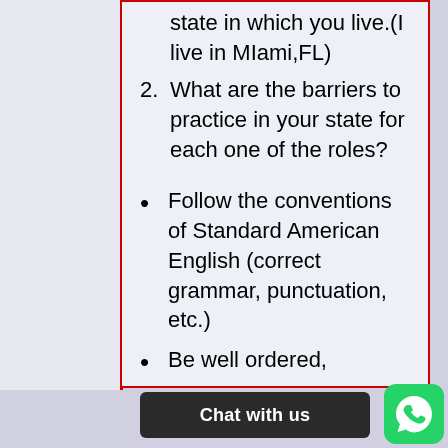state in which you live.(I live in MIami,FL)
2. What are the barriers to practice in your state for each one of the roles?
Follow the conventions of Standard American English (correct grammar, punctuation, etc.)
Be well ordered,
[Figure (other): Chat with us button bar at the bottom of the page]
[Figure (logo): WhatsApp icon in bottom right corner]